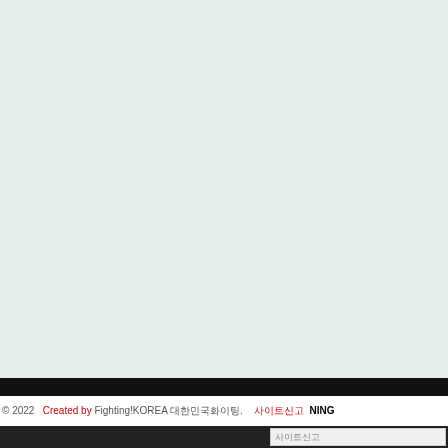[Figure (other): Large light mint/sage green background area filling most of the page]
© 2022   Created by Fighting!KOREA 대한민국화이팅.    사이트신고  NING